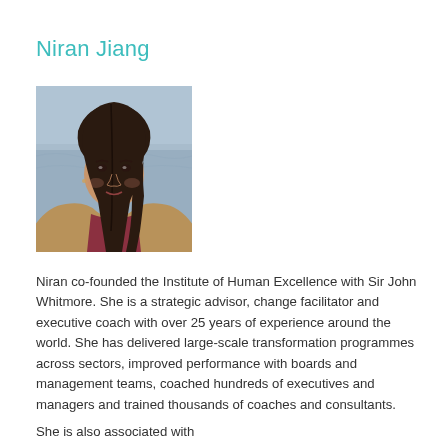Niran Jiang
[Figure (photo): Portrait photo of Niran Jiang, a woman with long dark hair, photographed outdoors near water/ocean background]
Niran co-founded the Institute of Human Excellence with Sir John Whitmore. She is a strategic advisor, change facilitator and executive coach with over 25 years of experience around the world. She has delivered large-scale transformation programmes across sectors, improved performance with boards and management teams, coached hundreds of executives and managers and trained thousands of coaches and consultants.
She is also associated with...